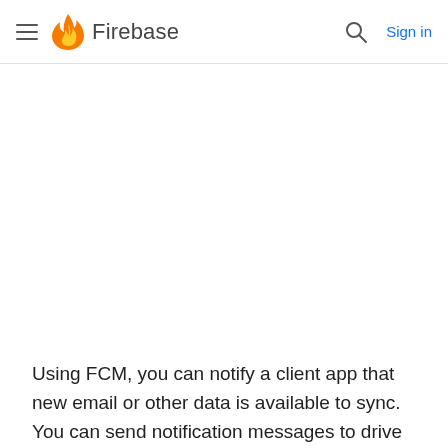Firebase
Using FCM, you can notify a client app that new email or other data is available to sync. You can send notification messages to drive user re-engagement and retention. For use cases such as instant messaging, a message can